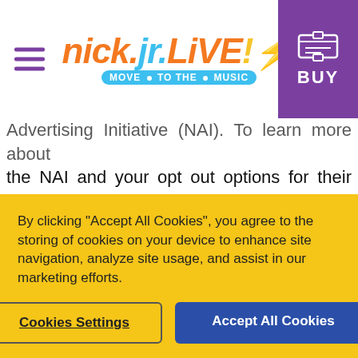Nick Jr. LIVE! Move to the Music — BUY
Advertising Initiative (NAI). To learn more about the NAI and your opt out options for their members, see http://www.networkadvertising.org/choices/. Please be aware that, even if you are able to opt out of certain kinds of Interest-based Advertising, you may continue to receive or see other types of ads. Opting out only means that those selected members should no longer deliver certain Interest-based Advertising to you, but does not mean you will no longer
By clicking "Accept All Cookies", you agree to the storing of cookies on your device to enhance site navigation, analyze site usage, and assist in our marketing efforts.
Cookies Settings | Accept All Cookies